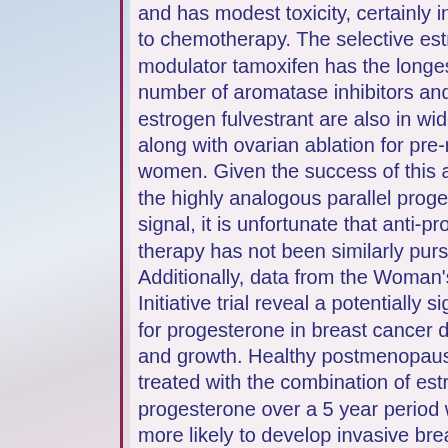and has modest toxicity, certainly in comparison to chemotherapy. The selective estrogen receptor modulator tamoxifen has the longest history but a number of aromatase inhibitors and the anti-estrogen fulvestrant are also in widespread use along with ovarian ablation for pre-menopausal women. Given the success of this approach, and the highly analogous parallel progesterone signal, it is unfortunate that anti-progesterone therapy has not been similarly pursued. Additionally, data from the Woman's Health Initiative trial reveal a potentially significant role for progesterone in breast cancer development and growth. Healthy postmenopausal women treated with the combination of estrogen and progesterone over a 5 year period were 24% more likely to develop invasive breast cancer and had larger tumors at diagnosis. Notably this effect